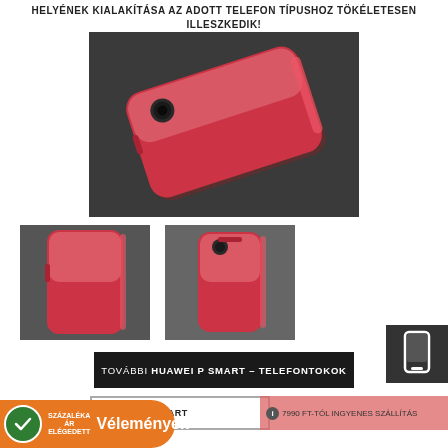HELYÉNEK KIALAKÍTÁSA AZ ADOTT TELEFON TÍPUSHOZ TÖKÉLETESEN ILLESZKEDIK!
[Figure (photo): Main product photo of a red/pink transparent silicone phone case for Huawei P Smart, shown at an angle on a dark grey background.]
[Figure (photo): Thumbnail photo showing the side view of the red/pink transparent phone case.]
[Figure (photo): Thumbnail photo showing the front/back view of the red/pink transparent phone case standing upright.]
TOVÁBBI HUAWEI P SMART – TELEFONTOKOK
HUAWEI P SMART
7990 FT-TÓL INGYENES SZÁLLÍTÁS
Vélemények